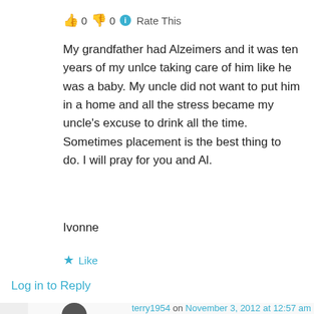👍 0 👎 0 ℹ Rate This
My grandfather had Alzeimers and it was ten years of my unlce taking care of him like he was a baby. My uncle did not want to put him in a home and all the stress became my uncle's excuse to drink all the time. Sometimes placement is the best thing to do. I will pray for you and Al.
Ivonne
★ Like
Log in to Reply
terry1954 on November 3, 2012 at 12:57 am